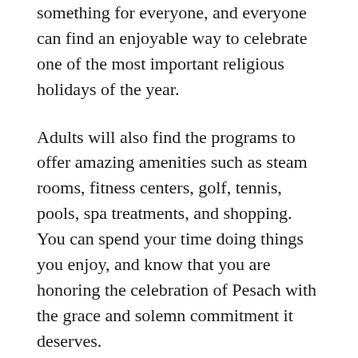something for everyone, and everyone can find an enjoyable way to celebrate one of the most important religious holidays of the year.
Adults will also find the programs to offer amazing amenities such as steam rooms, fitness centers, golf, tennis, pools, spa treatments, and shopping. You can spend your time doing things you enjoy, and know that you are honoring the celebration of Pesach with the grace and solemn commitment it deserves.
Everyone in the family will find something they love to do. There are theme parks, water parks, top-class golf courses, miles of sandy beaches, snorkeling, boating, swimming, and fantastic